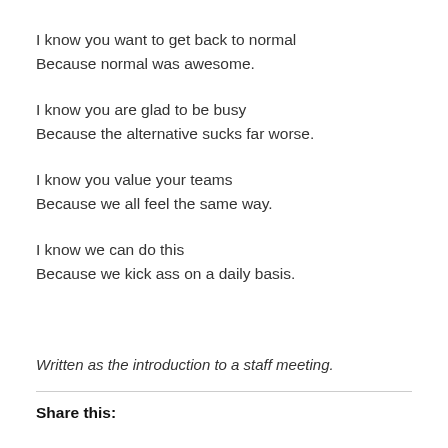I know you want to get back to normal
Because normal was awesome.
I know you are glad to be busy
Because the alternative sucks far worse.
I know you value your teams
Because we all feel the same way.
I know we can do this
Because we kick ass on a daily basis.
Written as the introduction to a staff meeting.
Share this: